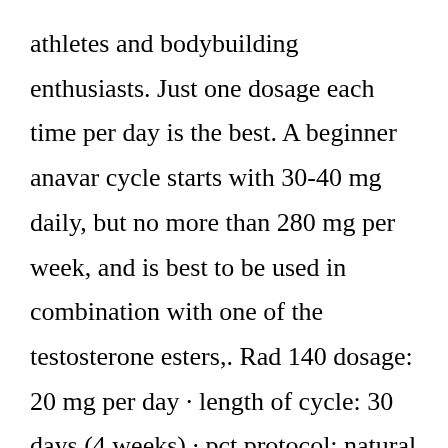athletes and bodybuilding enthusiasts. Just one dosage each time per day is the best. A beginner anavar cycle starts with 30-40 mg daily, but no more than 280 mg per week, and is best to be used in combination with one of the testosterone esters,. Rad 140 dosage: 20 mg per day · length of cycle: 30 days (4 weeks) · pct protocol: natural test booster. Ostarine mk-2866 helps you to bulk up and look ripped and make you feel confident about your body. Dosage is a very important.